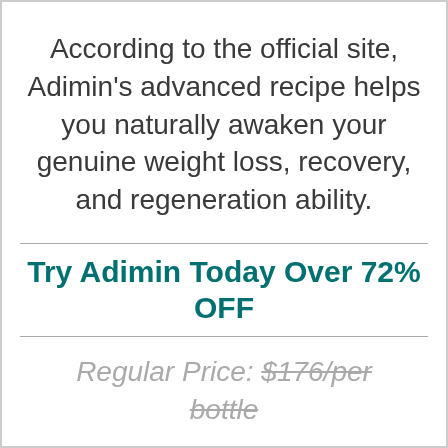According to the official site, Adimin's advanced recipe helps you naturally awaken your genuine weight loss, recovery, and regeneration ability.
Try Adimin Today Over 72% OFF
Regular Price: $176/per bottle